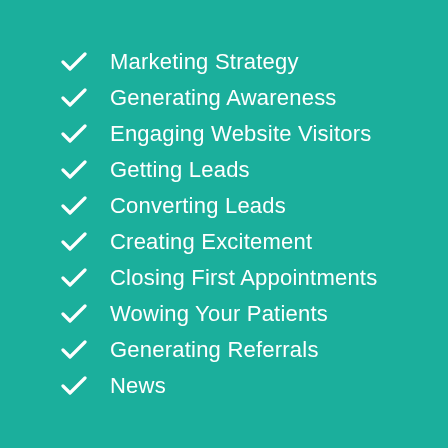Marketing Strategy
Generating Awareness
Engaging Website Visitors
Getting Leads
Converting Leads
Creating Excitement
Closing First Appointments
Wowing Your Patients
Generating Referrals
News